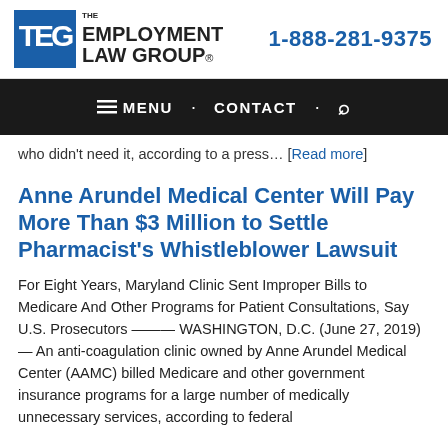THE EMPLOYMENT LAW GROUP® | 1-888-281-9375
MENU · CONTACT · 🔍
who didn't need it, according to a press… [Read more]
Anne Arundel Medical Center Will Pay More Than $3 Million to Settle Pharmacist's Whistleblower Lawsuit
For Eight Years, Maryland Clinic Sent Improper Bills to Medicare And Other Programs for Patient Consultations, Say U.S. Prosecutors ——— WASHINGTON, D.C. (June 27, 2019) — An anti-coagulation clinic owned by Anne Arundel Medical Center (AAMC) billed Medicare and other government insurance programs for a large number of medically unnecessary services, according to federal